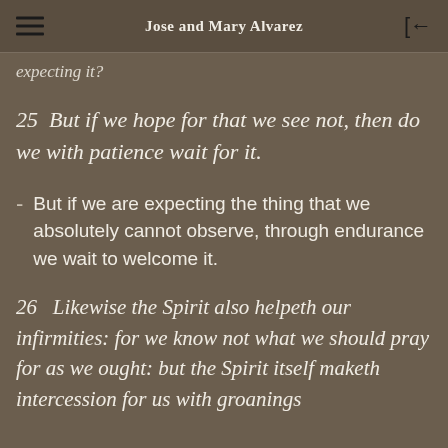Jose and Mary Alvarez
expecting it?
25  But if we hope for that we see not, then do we with patience wait for it.
But if we are expecting the thing that we absolutely cannot observe, through endurance we wait to welcome it.
26   Likewise the Spirit also helpeth our infirmities: for we know not what we should pray for as we ought: but the Spirit itself maketh intercession for us with groanings